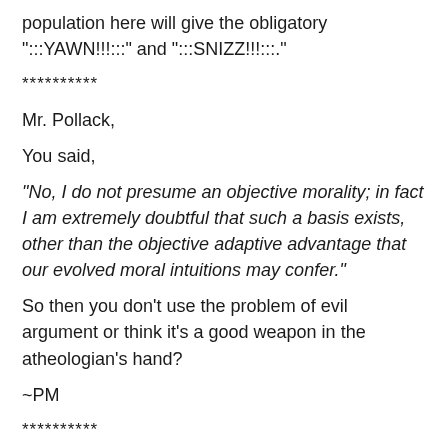population here will give the obligatory ":::YAWN!!!:::" and ":::SNIZZ!!!:::."
**********
Mr. Pollack,
You said,
"No, I do not presume an objective morality; in fact I am extremely doubtful that such a basis exists, other than the objective adaptive advantage that our evolved moral intuitions may confer."
So then you don't use the problem of evil argument or think it's a good weapon in the atheologian's hand?
~PM
**********
Paul,